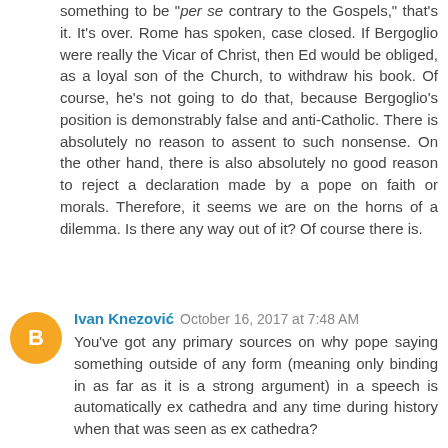something to be "per se contrary to the Gospels," that's it. It's over. Rome has spoken, case closed. If Bergoglio were really the Vicar of Christ, then Ed would be obliged, as a loyal son of the Church, to withdraw his book. Of course, he's not going to do that, because Bergoglio's position is demonstrably false and anti-Catholic. There is absolutely no reason to assent to such nonsense. On the other hand, there is also absolutely no good reason to reject a declaration made by a pope on faith or morals. Therefore, it seems we are on the horns of a dilemma. Is there any way out of it? Of course there is.
Ivan Knezović  October 16, 2017 at 7:48 AM
You've got any primary sources on why pope saying something outside of any form (meaning only binding in as far as it is a strong argument) in a speech is automatically ex cathedra and any time during history when that was seen as ex cathedra?